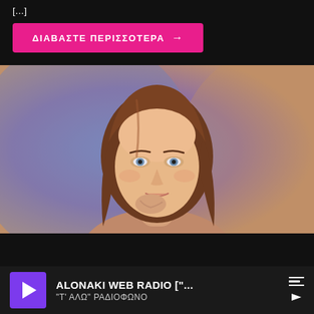[...]
ΔΙΑΒΑΣΤΕ ΠΕΡΙΣΣΟΤΕΡΑ →
[Figure (photo): Portrait photo of a young woman with shoulder-length brown hair, blue eyes, resting her chin on her hand, against a blue-purple gradient background]
ALONAKI WEB RADIO ["...
"Τ' ΑΛΩ" ΡΑΔΙΟΦΩΝΟ